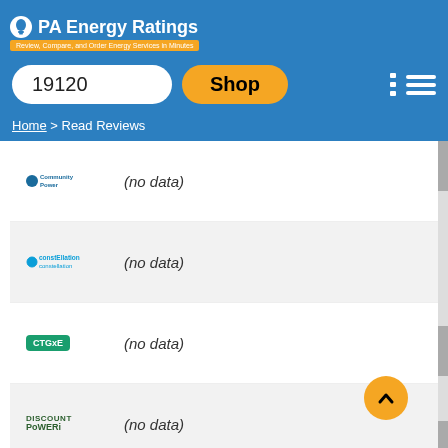PA Energy Ratings - Review, Compare, and Order Energy Services in Minutes
19120
Shop
Home > Read Reviews
(no data)
(no data)
(no data)
(no data)
(no data)
(no data)